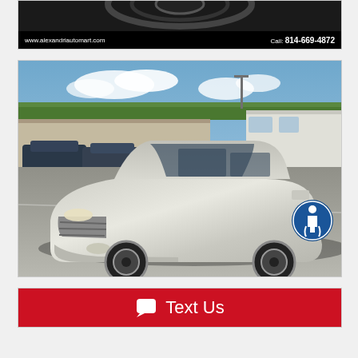[Figure (photo): Top banner showing dealership website and phone number on black background]
[Figure (photo): Silver Ford Edge SUV parked in dealership lot with trees and sky in background, disability accessibility icon in lower right]
Text Us